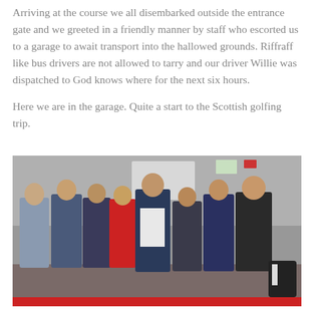Arriving at the course we all disembarked outside the entrance gate and we greeted in a friendly manner by staff who escorted us to a garage to await transport into the hallowed grounds. Riffraff like bus drivers are not allowed to tarry and our driver Willie was dispatched to God knows where for the next six hours.
Here we are in the garage. Quite a start to the Scottish golfing trip.
[Figure (photo): Group photo of eight men in suits and blazers standing together inside a garage. A red banner is partially visible at the bottom of the image.]